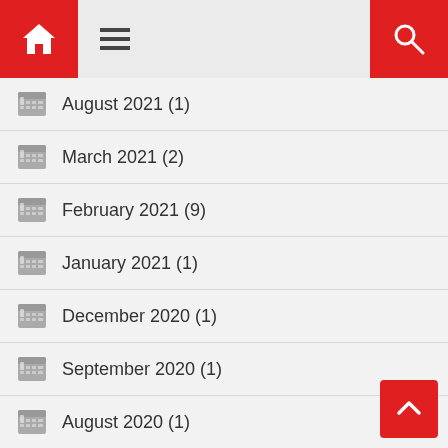Navigation header with home and search buttons
August 2021 (1)
March 2021 (2)
February 2021 (9)
January 2021 (1)
December 2020 (1)
September 2020 (1)
August 2020 (1)
July 2020 (1)
June 2020 (2)
May 2020 (16)